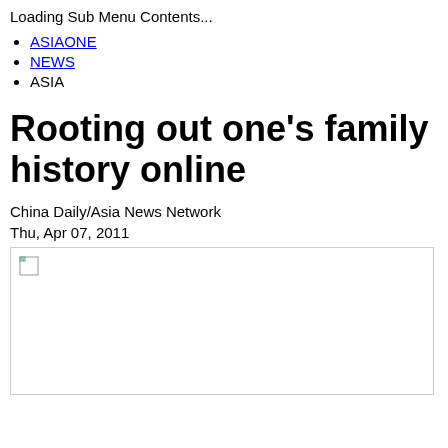Loading Sub Menu Contents...
ASIAONE
NEWS
ASIA
Rooting out one's family history online
China Daily/Asia News Network
Thu, Apr 07, 2011
[Figure (photo): Broken/loading image placeholder]